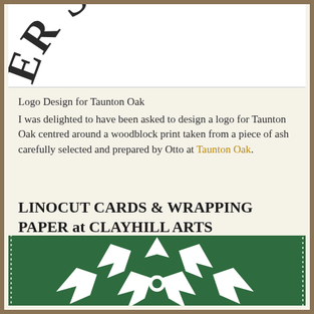[Figure (logo): Partial arc text reading 'BER SUPP' in bold serif letters, part of a circular logo for Taunton Oak timber supply]
Logo Design for Taunton Oak
I was delighted to have been asked to design a logo for Taunton Oak centred around a woodblock print taken from a piece of ash carefully selected and prepared by Otto at Taunton Oak.
LINOCUT CARDS & WRAPPING PAPER at CLAYHILL ARTS
[Figure (photo): A linocut print in dark green and white showing holly leaves, berries, and a bird, with a dotted border. The design features bold angular cuts typical of linocut printmaking.]